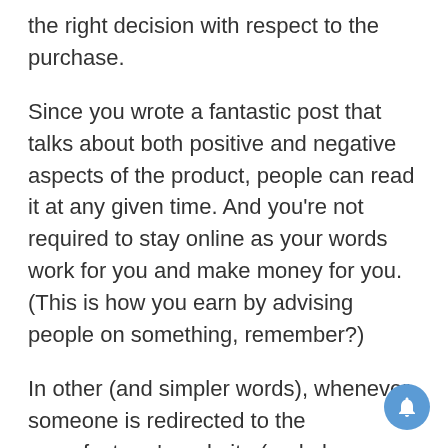the right decision with respect to the purchase.
Since you wrote a fantastic post that talks about both positive and negative aspects of the product, people can read it at any given time. And you're not required to stay online as your words work for you and make money for you. (This is how you earn by advising people on something, remember?)
In other (and simpler words), whenever someone is redirected to the manufacturer's website (and places an order), you get a cut from